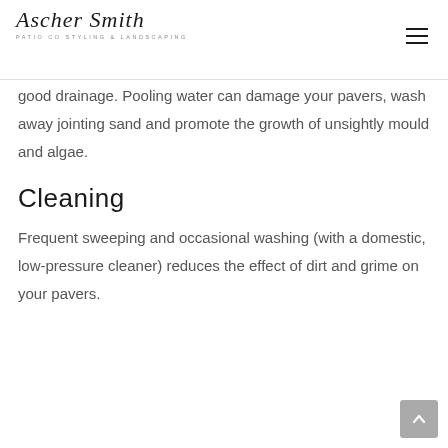Ascher Smith — Patio Co Styling & Landscaping
good drainage. Pooling water can damage your pavers, wash away jointing sand and promote the growth of unsightly mould and algae.
Cleaning
Frequent sweeping and occasional washing (with a domestic, low-pressure cleaner) reduces the effect of dirt and grime on your pavers.